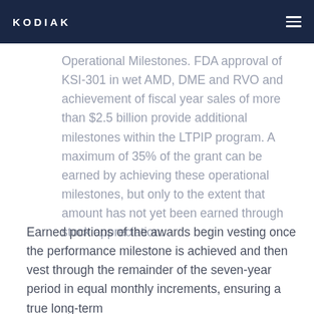KODIAK
Operational Milestones. FDA approval of KSI-301 in wet AMD, DME and RVO and achievement of fiscal year sales of more than $2.5 billion provide additional milestones within the LTPIP program. A maximum of 35% of the grant can be earned by achieving these operational milestones, but only to the extent that amount has not yet been earned through stock appreciation.
Earned portions of the awards begin vesting once the performance milestone is achieved and then vest through the remainder of the seven-year period in equal monthly increments, ensuring a true long-term